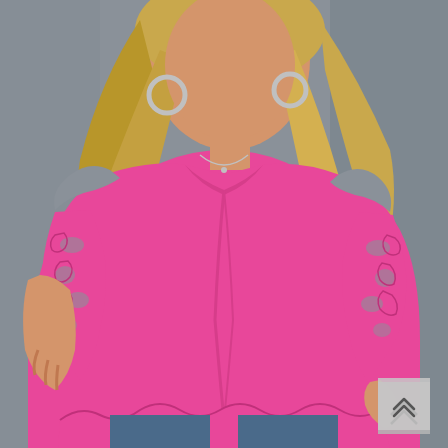[Figure (photo): A woman with long blonde hair wearing a hot pink cold-shoulder blouse with lace floral cutout sleeves and a scalloped hem. She is also wearing large hoop earrings and a delicate necklace, with jeans visible at the bottom. Background is a muted gray wall. A small gray scroll-up button with double chevron arrows appears in the bottom right corner.]